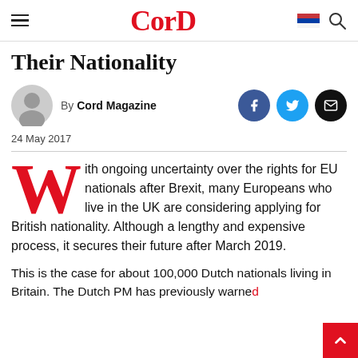CorD
Their Nationality
By Cord Magazine
24 May 2017
With ongoing uncertainty over the rights for EU nationals after Brexit, many Europeans who live in the UK are considering applying for British nationality. Although a lengthy and expensive process, it secures their future after March 2019.
This is the case for about 100,000 Dutch nationals living in Britain. The Dutch PM has previously warned